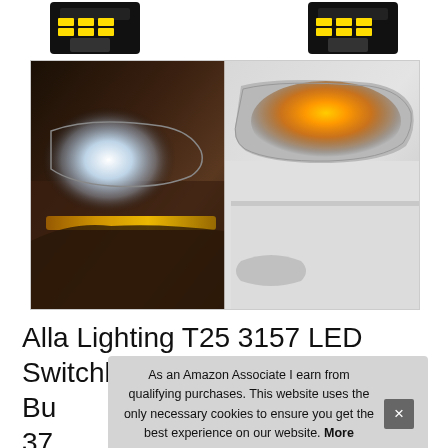[Figure (photo): Top portion: two LED bulb product images on dark background. Bottom: side-by-side car headlight photos — left shows white/blue LED headlight with amber DRL strip, right shows amber/orange turn signal light on white SUV.]
Alla Lighting T25 3157 LED Switchback Bu... Sig... 37... 3035-SMD 12V Replacement
As an Amazon Associate I earn from qualifying purchases. This website uses the only necessary cookies to ensure you get the best experience on our website. More information